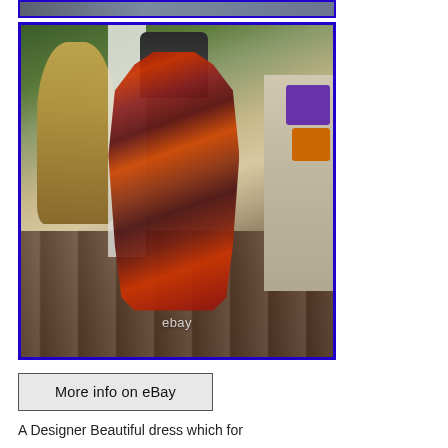[Figure (photo): Partial top strip of a product photo with blue border, showing partial view of a dress listing]
[Figure (photo): Main product photo of a red and black halter/maxi dress on a mannequin, displayed outdoors on a wooden deck with a Buddha statue, white curtain, and colorful cushions in the background. eBay watermark visible at bottom of image. Photo has a blue border.]
[Figure (other): Button/link reading 'More info on eBay' with a rectangular border]
A Designer Beautiful dress which for